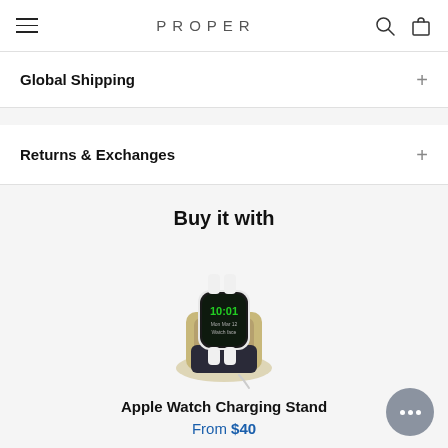PROPER (navigation bar with hamburger menu, search, and bag icons)
Global Shipping
Returns & Exchanges
Buy it with
[Figure (photo): Apple Watch on a gold/tan charging stand dock, displaying 10:01 on screen]
Apple Watch Charging Stand
From $40